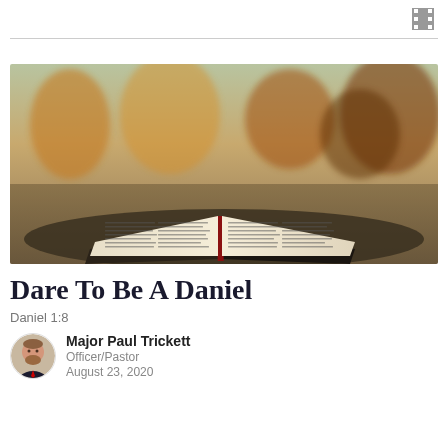[Figure (photo): Open Bible outdoors with autumn foliage in background]
Dare To Be A Daniel
Daniel 1:8
Major Paul Trickett
Officer/Pastor
August 23, 2020